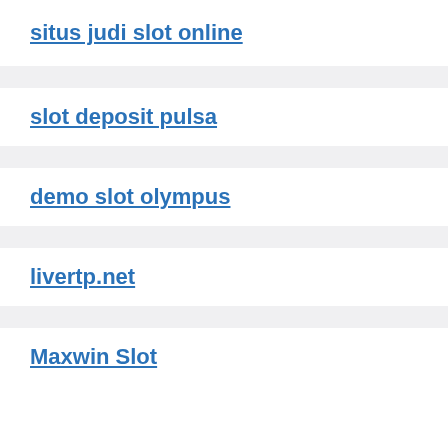situs judi slot online
slot deposit pulsa
demo slot olympus
livertp.net
Maxwin Slot